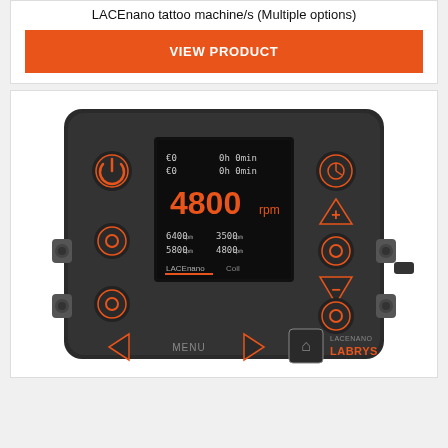LACEnano tattoo machine/s (Multiple options)
VIEW PRODUCT
[Figure (photo): LACEnano Labrys tattoo machine power supply unit - black rectangular device with digital display showing 4800rpm, multiple control buttons with orange accents, showing speed settings 6400rpm, 5800rpm, 3500rpm, 4800rpm, and LACEnano/Coil labels at bottom]